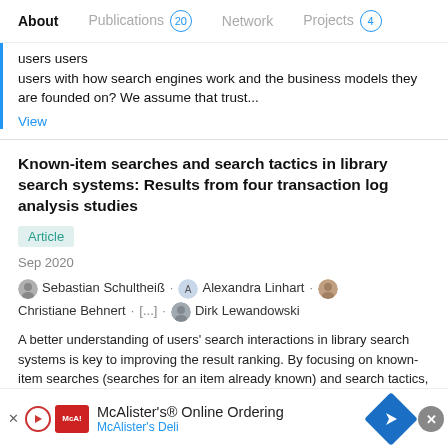About   Publications 20   Network   Projects 4
users with how search engines work and the business models they are founded on? We assume that trust...
View
Known-item searches and search tactics in library search systems: Results from four transaction log analysis studies
Article
Sep 2020
Sebastian Schultheiß · Alexandra Linhart · Christiane Behnert · [...] · Dirk Lewandowski
A better understanding of users' search interactions in library search systems is key to improving the result ranking. By focusing on known-item searches (searches for an item already known) and search tactics, vast improvement can be made. To better understand user behaviour, we conducted four
[Figure (infographic): McAlister's Online Ordering advertisement banner with logo, text and arrow icon]